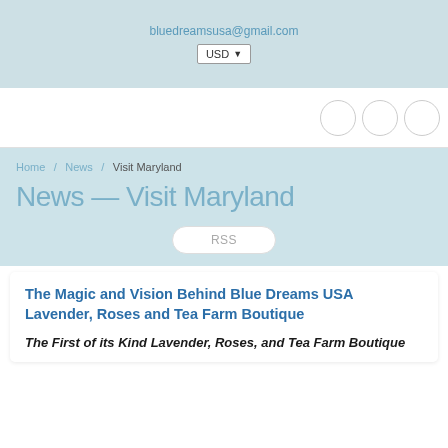bluedreamsusa@gmail.com
USD
[Figure (other): Navigation bar with three circular icon buttons on the right side]
Home / News / Visit Maryland
News — Visit Maryland
RSS
The Magic and Vision Behind Blue Dreams USA Lavender, Roses and Tea Farm Boutique
The First of its Kind Lavender, Roses, and Tea Farm Boutique